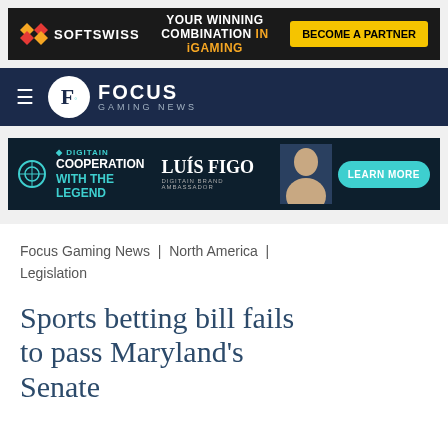[Figure (screenshot): SOFTSWISS advertisement banner: dark background with SOFTSWISS logo on left, 'YOUR WINNING COMBINATION IN iGAMING' text in center, and 'BECOME A PARTNER' yellow button on right]
[Figure (logo): Focus Gaming News navigation bar with hamburger menu, circular F logo, and 'FOCUS GAMING NEWS' text on dark navy background]
[Figure (screenshot): Digitain advertisement banner: dark background with Digitain logo, 'COOPERATION WITH THE LEGEND' text in teal/white, 'LUIS FIGO DIGITAIN BRAND AMBASSADOR' with photo, and 'LEARN MORE' teal button]
Focus Gaming News | North America | Legislation
Sports betting bill fails to pass Maryland's Senate